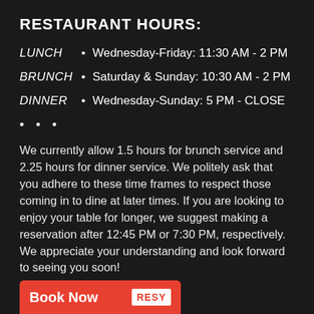RESTAURANT HOURS:
LUNCH • Wednesday-Friday: 11:30 AM - 2 PM
BRUNCH • Saturday & Sunday: 10:30 AM - 2 PM
DINNER • Wednesday-Sunday: 5 PM - CLOSE
• • •
We currently allow 1.5 hours for brunch service and 2.25 hours for dinner service. We politely ask that you adhere to these time frames to respect those coming in to dine at later times. If you are looking to enjoy your table for longer, we suggest making a reservation after 12:45 PM or 7:30 PM, respectively. We appreciate your understanding and look forward to seeing you soon!
Book Now RESY